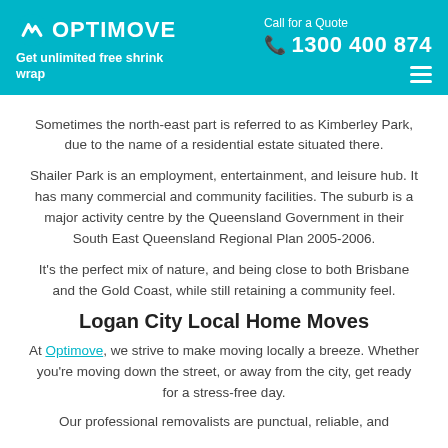OPTIMOVE — Get unlimited free shrink wrap | Call for a Quote 1300 400 874
Sometimes the north-east part is referred to as Kimberley Park, due to the name of a residential estate situated there.
Shailer Park is an employment, entertainment, and leisure hub. It has many commercial and community facilities. The suburb is a major activity centre by the Queensland Government in their South East Queensland Regional Plan 2005-2006.
It's the perfect mix of nature, and being close to both Brisbane and the Gold Coast, while still retaining a community feel.
Logan City Local Home Moves
At Optimove, we strive to make moving locally a breeze. Whether you're moving down the street, or away from the city, get ready for a stress-free day.
Our professional removalists are punctual, reliable, and